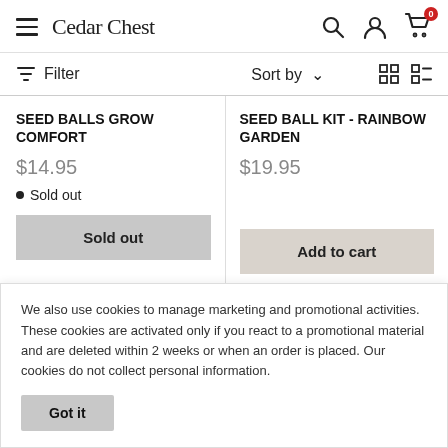Cedar Chest — navigation bar with hamburger menu, search, account, and cart (0 items)
Filter   Sort by ∨   grid/list view icons
SEED BALLS GROW COMFORT
$14.95
● Sold out
Sold out
SEED BALL KIT - RAINBOW GARDEN
$19.95
Add to cart
We also use cookies to manage marketing and promotional activities. These cookies are activated only if you react to a promotional material and are deleted within 2 weeks or when an order is placed.  Our cookies do not collect personal information.
Got it